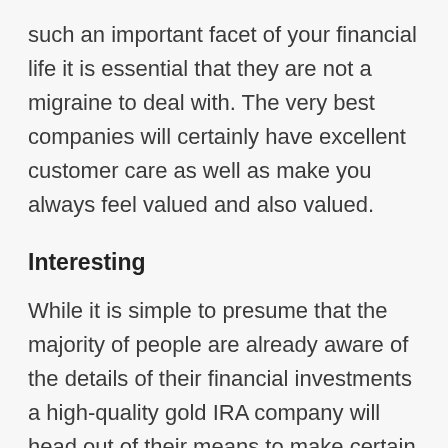such an important facet of your financial life it is essential that they are not a migraine to deal with. The very best companies will certainly have excellent customer care as well as make you always feel valued and also valued.
Interesting
While it is simple to presume that the majority of people are already aware of the details of their financial investments a high-quality gold IRA company will head out of their means to make certain that you have every one of the info you require. If you feel that they are brushing you off that is a huge warning. Ensure to ask a lot of questions throughout your first